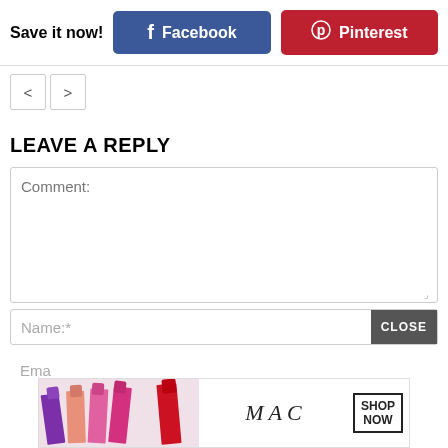Save it now!
Facebook
Pinterest
< >
LEAVE A REPLY
Comment:
Name:*
CLOSE
[Figure (photo): MAC cosmetics advertisement banner with lipsticks in purple, pink, and red colors, MAC logo, and SHOP NOW button]
Ema